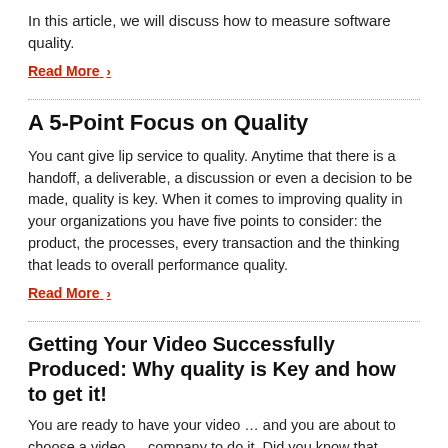In this article, we will discuss how to measure software quality.
Read More ›
A 5-Point Focus on Quality
You cant give lip service to quality. Anytime that there is a handoff, a deliverable, a discussion or even a decision to be made, quality is key. When it comes to improving quality in your organizations you have five points to consider: the product, the processes, every transaction and the thinking that leads to overall performance quality.
Read More ›
Getting Your Video Successfully Produced: Why quality is Key and how to get it!
You are ready to have your video … and you are about to choose a video … company to do it. Did you know that